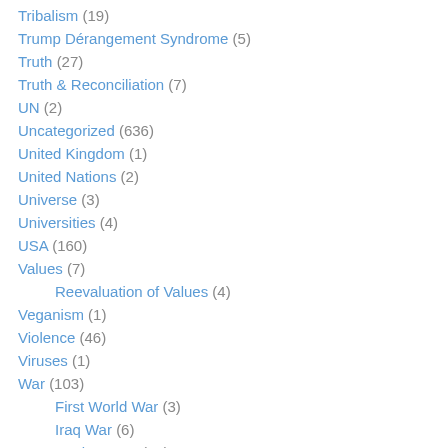Tribalism (19)
Trump Dérangement Syndrome (5)
Truth (27)
Truth & Reconciliation (7)
UN (2)
Uncategorized (636)
United Kingdom (1)
United Nations (2)
Universe (3)
Universities (4)
USA (160)
Values (7)
Reevaluation of Values (4)
Veganism (1)
Violence (46)
Viruses (1)
War (103)
First World War (3)
Iraq War (6)
Nuclear War (23)